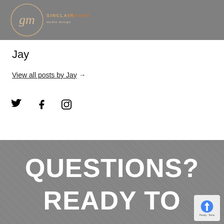[Figure (logo): Sinclair Maxwell media design logo with circular monogram and brand name text]
Jay
View all posts by Jay →
[Figure (infographic): Social media icons: Twitter bird, Facebook f, Instagram camera]
QUESTIONS?
READY TO